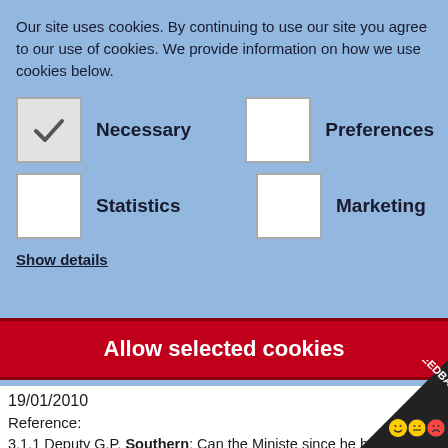Our site uses cookies. By continuing to use our site you agree to our use of cookies. We provide information on how we use cookies below.
[Figure (screenshot): Cookie consent checkboxes: Necessary (checked), Preferences (unchecked), Statistics (unchecked), Marketing (unchecked)]
Show details
Allow selected cookies
19/01/2010
Reference:
3.1.1 Deputy G.P. Southern: Can the Minister since he has hinted that the answers he